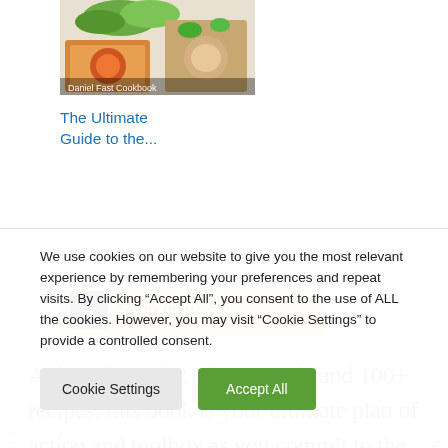[Figure (photo): Food/cookbook cover image showing colorful dishes]
The Ultimate Guide to the...
[Figure (other): Amazon Shop now button/widget with Amazon logo]
At length, with 21 devotionals and 100+ recipes, this book is your ultimate plan of action and toolbox as you commit to the Daniel Fast. Later,
We use cookies on our website to give you the most relevant experience by remembering your preferences and repeat visits. By clicking “Accept All”, you consent to the use of ALL the cookies. However, you may visit "Cookie Settings" to provide a controlled consent.